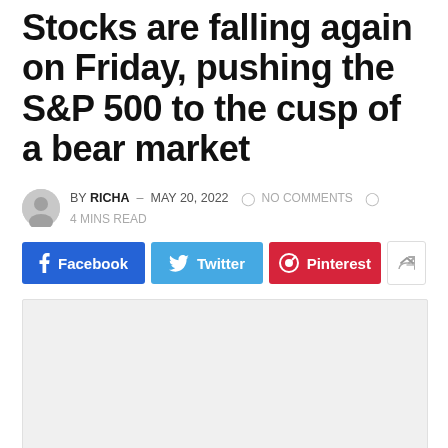Stocks are falling again on Friday, pushing the S&P 500 to the cusp of a bear market
BY RICHA – MAY 20, 2022  NO COMMENTS  4 MINS READ
[Figure (other): Social share buttons: Facebook, Twitter, Pinterest, and a generic share button]
[Figure (photo): Article image placeholder (light gray rectangle)]